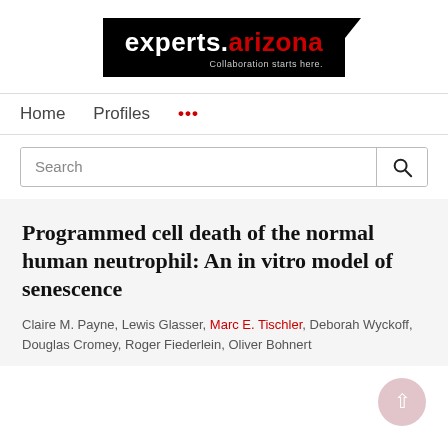[Figure (logo): experts.arizona logo — black rectangle with white text 'experts.' and red '.arizona', tagline 'Collaboration starts here.']
Home   Profiles   ...
Search
Programmed cell death of the normal human neutrophil: An in vitro model of senescence
Claire M. Payne, Lewis Glasser, Marc E. Tischler, Deborah Wyckoff, Douglas Cromey, Roger Fiederlein, Oliver Bohnert